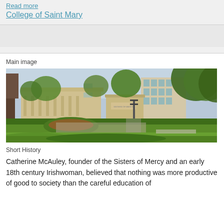Read more
College of Saint Mary
Main image
[Figure (photo): Exterior campus photo of College of Saint Mary showing tan/beige modern academic buildings surrounded by lush green trees, shrubs, and manicured landscaping with a circular drive and walkways in the foreground]
Short History
Catherine McAuley, founder of the Sisters of Mercy and an early 18th century Irishwoman, believed that nothing was more productive of good to society than the careful education of